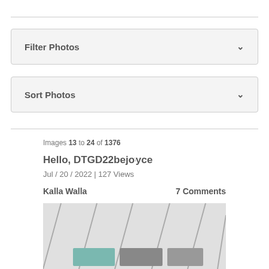Filter Photos
Sort Photos
Images 13 to 24 of 1376
Hello, DTGD22bejoyce
Jul / 20 / 2022 | 127 Views
Kalla Walla
7 Comments
[Figure (photo): Partial view of a photo showing diagonal lines and small rectangular objects on a light background]